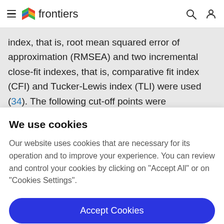frontiers
index, that is, root mean squared error of approximation (RMSEA) and two incremental close-fit indexes, that is, comparative fit index (CFI) and Tucker-Lewis index (TLI) were used (34). The following cut-off points were considered as indicative of an adequate model fit: RMSEA
We use cookies
Our website uses cookies that are necessary for its operation and to improve your experience. You can review and control your cookies by clicking on "Accept All" or on "Cookies Settings".
Accept Cookies
Cookies Settings